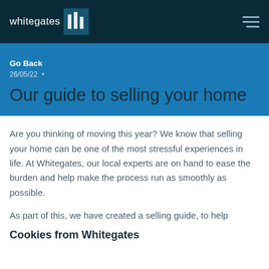whitegates [logo]
Go Back
26/05/22 •
Our guide to selling your home
Are you thinking of moving this year? We know that selling your home can be one of the most stressful experiences in life. At Whitegates, our local experts are on hand to ease the burden and help make the process run as smoothly as possible.
As part of this, we have created a selling guide, to help
Cookies from Whitegates